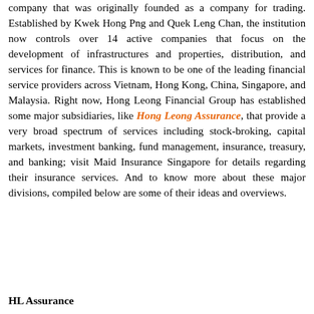company that was originally founded as a company for trading. Established by Kwek Hong Png and Quek Leng Chan, the institution now controls over 14 active companies that focus on the development of infrastructures and properties, distribution, and services for finance. This is known to be one of the leading financial service providers across Vietnam, Hong Kong, China, Singapore, and Malaysia. Right now, Hong Leong Financial Group has established some major subsidiaries, like Hong Leong Assurance, that provide a very broad spectrum of services including stock-broking, capital markets, investment banking, fund management, insurance, treasury, and banking; visit Maid Insurance Singapore for details regarding their insurance services. And to know more about these major divisions, compiled below are some of their ideas and overviews.
HL Assurance